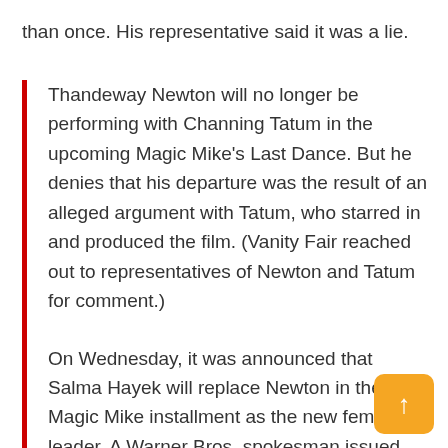than once. His representative said it was a lie.
Thandeway Newton will no longer be performing with Channing Tatum in the upcoming Magic Mike's Last Dance. But he denies that his departure was the result of an alleged argument with Tatum, who starred in and produced the film. (Vanity Fair reached out to representatives of Newton and Tatum for comment.)
On Wednesday, it was announced that Salma Hayek will replace Newton in the third Magic Mike installment as the new female leader. A Warner Bros. spokesman issued the following statement to Variety: "Newton has decided move away from the production of Warner Bros. Pictures' Magic Mike's Last Dance to deal with